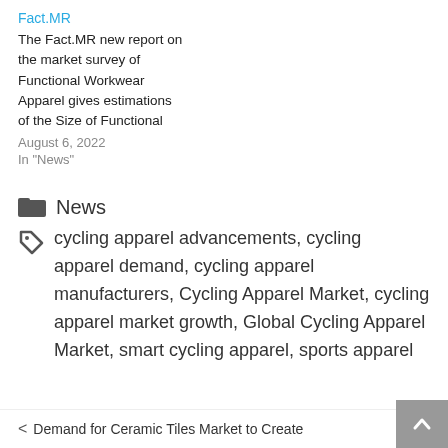Fact.MR
The Fact.MR new report on the market survey of Functional Workwear Apparel gives estimations of the Size of Functional
August 6, 2022
In "News"
News
cycling apparel advancements, cycling apparel demand, cycling apparel manufacturers, Cycling Apparel Market, cycling apparel market growth, Global Cycling Apparel Market, smart cycling apparel, sports apparel
< Demand for Ceramic Tiles Market to Create